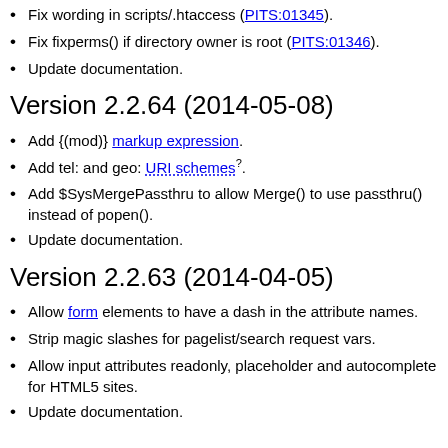Fix wording in scripts/.htaccess (PITS:01345).
Fix fixperms() if directory owner is root (PITS:01346).
Update documentation.
Version 2.2.64 (2014-05-08)
Add {(mod)} markup expression.
Add tel: and geo: URI schemes?.
Add $SysMergePassthru to allow Merge() to use passthru() instead of popen().
Update documentation.
Version 2.2.63 (2014-04-05)
Allow form elements to have a dash in the attribute names.
Strip magic slashes for pagelist/search request vars.
Allow input attributes readonly, placeholder and autocomplete for HTML5 sites.
Update documentation.